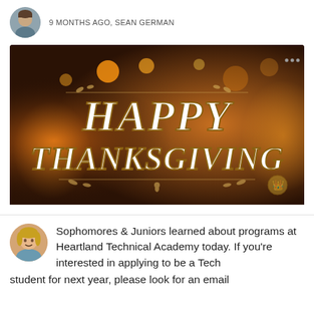9 MONTHS AGO, SEAN GERMAN
[Figure (photo): Happy Thanksgiving decorative image with golden ornate lettering on a dark warm bokeh background]
Sophomores & Juniors learned about programs at Heartland Technical Academy today. If you're interested in applying to be a Tech student for next year, please look for an email